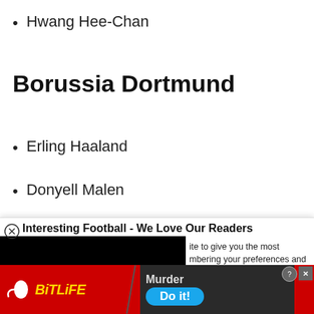Hwang Hee-Chan
Borussia Dortmund
Erling Haaland
Donyell Malen
[Figure (screenshot): Cookie consent popup overlay reading 'Interesting Football - We Love Our Readers' with text about cookies and a black video/ad block covering the left portion. Overlaid by a BitLife advertisement at the bottom.]